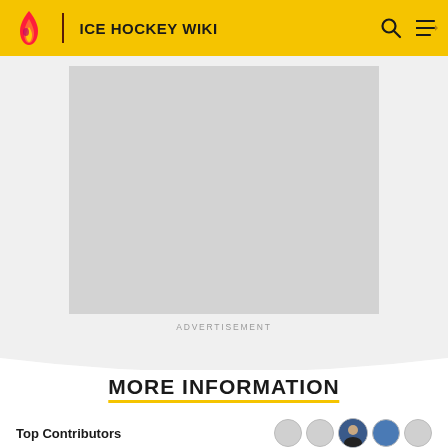ICE HOCKEY WIKI
[Figure (other): Advertisement placeholder — large grey rectangle]
ADVERTISEMENT
MORE INFORMATION
Top Contributors